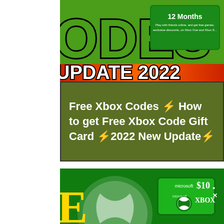[Figure (screenshot): Xbox Live Gold 12 Months subscription card thumbnail - green background with 'ODES' text in large green letters outlined in black, and an Xbox Live Gold 12 Months card visible on the right side with text 'Play with friends online, and get free games, exclusive discounts, on Xbox One and Xbox S...']
[Figure (screenshot): Banner with orange/red gradient background showing 'UPDATE 2022' in large bold black and white outlined text]
[Figure (screenshot): Dark olive/green background panel with white text reading: 'Free Xbox Codes ⚡ How to get Free Xbox Code Gift Card ⚡2022 New Update⚡']
[Figure (screenshot): Second image showing Xbox gift cards - green background with large white Xbox logo, yellow letter 'E' partially visible on left, and Microsoft Xbox $10 gift card visible on right side]